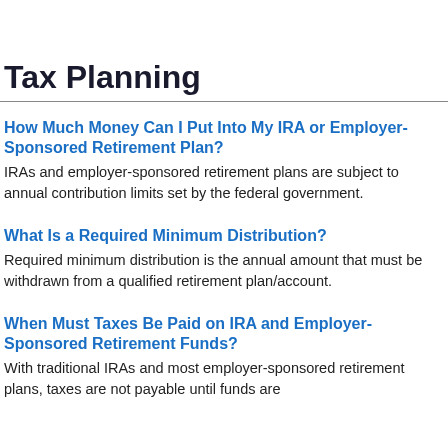Tax Planning
How Much Money Can I Put Into My IRA or Employer-Sponsored Retirement Plan?
IRAs and employer-sponsored retirement plans are subject to annual contribution limits set by the federal government.
What Is a Required Minimum Distribution?
Required minimum distribution is the annual amount that must be withdrawn from a qualified retirement plan/account.
When Must Taxes Be Paid on IRA and Employer-Sponsored Retirement Funds?
With traditional IRAs and most employer-sponsored retirement plans, taxes are not payable until funds are